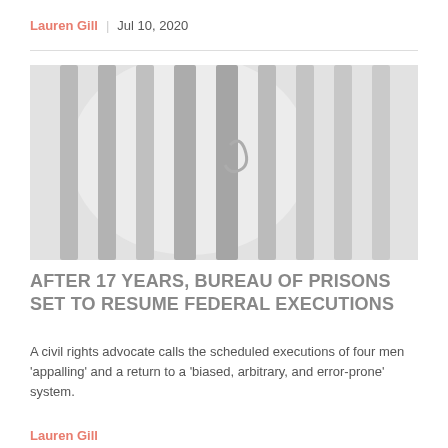Lauren Gill   Jul 10, 2020
[Figure (photo): Close-up photo of prison bars, light gray metal bars on a blurred light background with a partially visible latch/lock mechanism.]
AFTER 17 YEARS, BUREAU OF PRISONS SET TO RESUME FEDERAL EXECUTIONS
A civil rights advocate calls the scheduled executions of four men 'appalling' and a return to a 'biased, arbitrary, and error-prone' system.
Lauren Gill   Jun 16, 2020